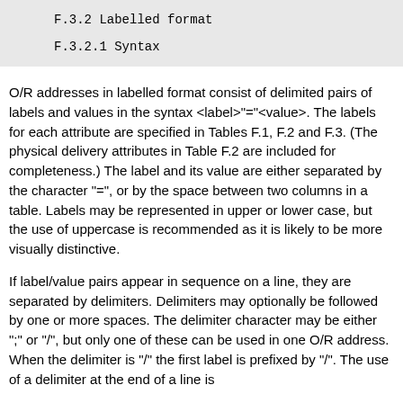F.3.2 Labelled format
F.3.2.1 Syntax
O/R addresses in labelled format consist of delimited pairs of labels and values in the syntax <label>"="<value>. The labels for each attribute are specified in Tables F.1, F.2 and F.3. (The physical delivery attributes in Table F.2 are included for completeness.) The label and its value are either separated by the character "=", or by the space between two columns in a table. Labels may be represented in upper or lower case, but the use of uppercase is recommended as it is likely to be more visually distinctive.
If label/value pairs appear in sequence on a line, they are separated by delimiters. Delimiters may optionally be followed by one or more spaces. The delimiter character may be either ";" or "/", but only one of these can be used in one O/R address. When the delimiter is "/" the first label is prefixed by "/". The use of a delimiter at the end of a line is